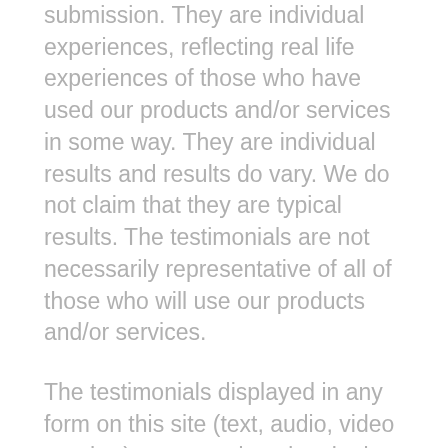submission. They are individual experiences, reflecting real life experiences of those who have used our products and/or services in some way. They are individual results and results do vary. We do not claim that they are typical results. The testimonials are not necessarily representative of all of those who will use our products and/or services.
The testimonials displayed in any form on this site (text, audio, video or other) are reproduced verbatim, except for correction of grammatical or typing errors. Some may have been shortened. In other words, not the whole message